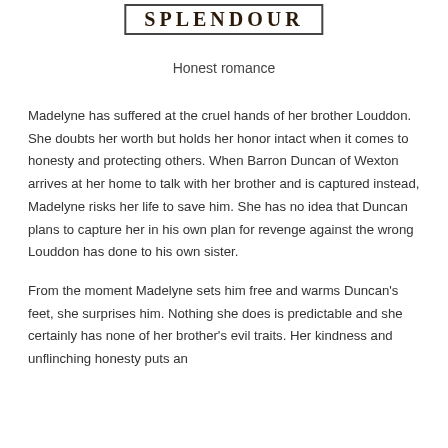SPLENDOUR
Honest romance
Madelyne has suffered at the cruel hands of her brother Louddon. She doubts her worth but holds her honor intact when it comes to honesty and protecting others. When Barron Duncan of Wexton arrives at her home to talk with her brother and is captured instead, Madelyne risks her life to save him. She has no idea that Duncan plans to capture her in his own plan for revenge against the wrong Louddon has done to his own sister.
From the moment Madelyne sets him free and warms Duncan's feet, she surprises him. Nothing she does is predictable and she certainly has none of her brother's evil traits. Her kindness and unflinching honesty puts an